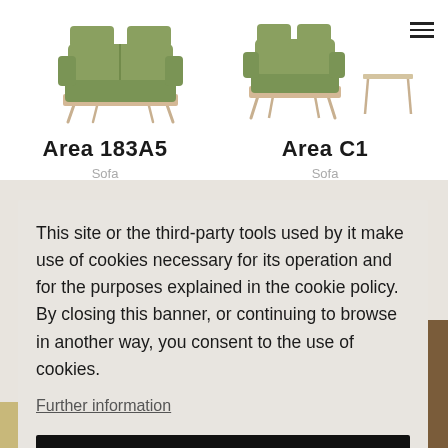[Figure (screenshot): Screenshot of a furniture website showing two sofas: Area 183A5 (green sofa on wooden frame, left) and Area C1 (green armchair set on wooden frame, right), with a hamburger menu icon top right. A cookie consent banner overlays the lower portion of the page.]
Area 183A5
Sofa
Area C1
Sofa
This site or the third-party tools used by it make use of cookies necessary for its operation and for the purposes explained in the cookie policy. By closing this banner, or continuing to browse in another way, you consent to the use of cookies.
Further information
OK